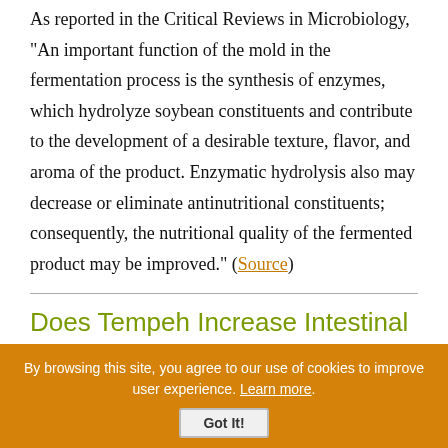As reported in the Critical Reviews in Microbiology, "An important function of the mold in the fermentation process is the synthesis of enzymes, which hydrolyze soybean constituents and contribute to the development of a desirable texture, flavor, and aroma of the product. Enzymatic hydrolysis also may decrease or eliminate antinutritional constituents; consequently, the nutritional quality of the fermented product may be improved." (Source)
Does Tempeh Increase Intestinal Microflora?
By browsing this site, you agree to our use of cookies to improve user experience. Learn more.